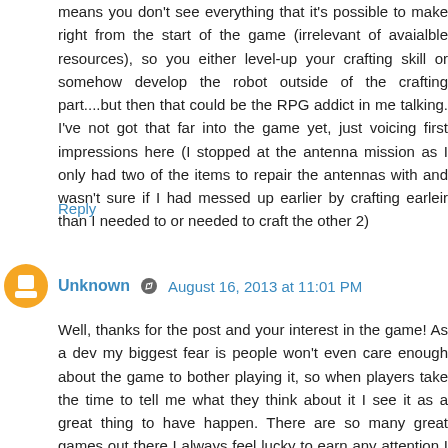means you don't see everything that it's possible to make right from the start of the game (irrelevant of avaialble resources), so you either level-up your crafting skill or somehow develop the robot outside of the crafting part....but then that could be the RPG addict in me talking. I've not got that far into the game yet, just voicing first impressions here (I stopped at the antenna mission as I only had two of the items to repair the antennas with and wasn't sure if I had messed up earlier by crafting earleir than I needed to or needed to craft the other 2)
Reply
Unknown  August 16, 2013 at 11:01 PM
Well, thanks for the post and your interest in the game! As a dev my biggest fear is people won't even care enough about the game to bother playing it, so when players take the time to tell me what they think about it I see it as a great thing to have happen. There are so many great games out there I always feel lucky to earn any attention I can get.
When deciding between a crafting progression like you see